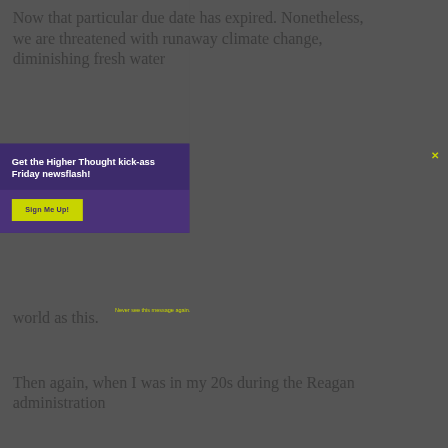Now that particular due date has expired. Nonetheless, we are threatened with runaway climate change, diminishing fresh water
Get the Higher Thought kick-ass Friday newsflash!
Sign Me Up!
Never see this message again.
world as this.
Then again, when I was in my 20s during the Reagan administration